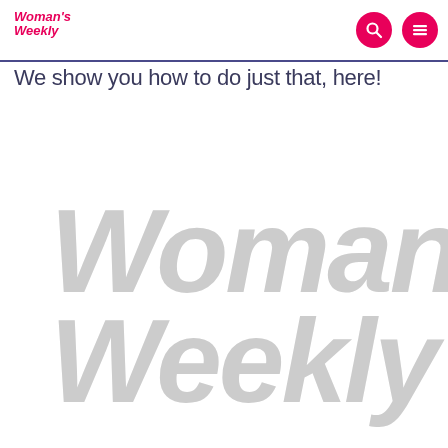Woman's Weekly [logo with search and menu icons]
We show you how to do just that, here!
[Figure (logo): Large light grey watermark of Woman's Weekly logo text in bold italic style, two lines: "Woman's" on top and "Weekly" below]